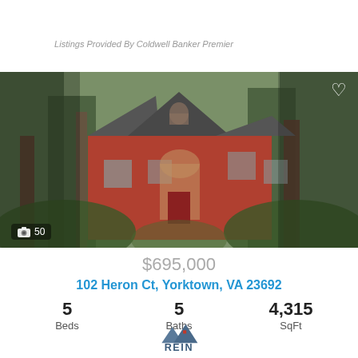[Figure (logo): REIN Real Estate Information Network logo with mountain/house icon]
Listings Provided By Coldwell Banker Premier
[Figure (photo): Exterior photo of a two-story brick house surrounded by tall trees, with a red front door and arched window. Photo count badge shows camera icon and 50.]
$695,000
102 Heron Ct, Yorktown, VA 23692
5 Beds   5 Baths   4,315 SqFt
[Figure (logo): REIN logo at bottom of page]